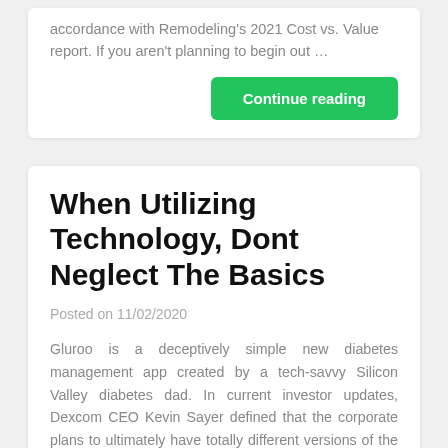accordance with Remodeling's 2021 Cost vs. Value report. If you aren't planning to begin out …
Continue reading
When Utilizing Technology, Dont Neglect The Basics
Posted on 11/02/2020
Gluroo is a deceptively simple new diabetes management app created by a tech-savvy Silicon Valley diabetes dad. In current investor updates, Dexcom CEO Kevin Sayer defined that the corporate plans to ultimately have totally different versions of the G7 for different groups of users. For